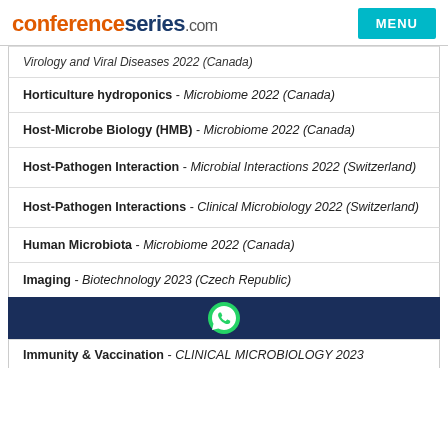conferenceseries.com | MENU
Virology and Viral Diseases 2022 (Canada)
Horticulture hydroponics - Microbiome 2022 (Canada)
Host-Microbe Biology (HMB) - Microbiome 2022 (Canada)
Host-Pathogen Interaction - Microbial Interactions 2022 (Switzerland)
Host-Pathogen Interactions - Clinical Microbiology 2022 (Switzerland)
Human Microbiota - Microbiome 2022 (Canada)
Imaging - Biotechnology 2023 (Czech Republic)
Immunity & Vaccination - CLINICAL MICROBIOLOGY 2023